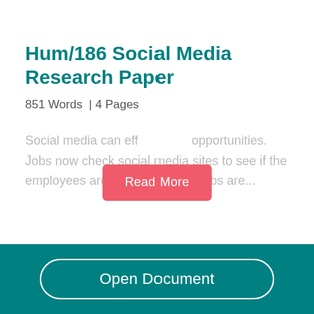Hum/186 Social Media Research Paper
851 Words  | 4 Pages
Social media can e... ff... opportunities. Jobs now check social media sites to see if the employees are on them before jobs are...
Read More
Open Document